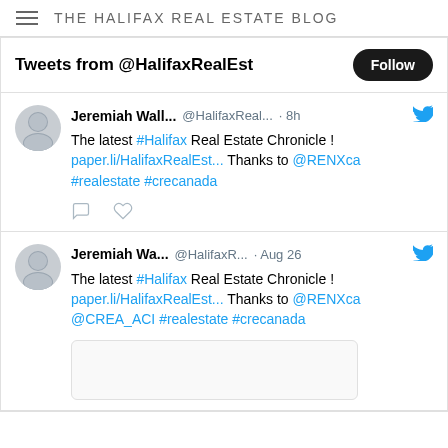THE HALIFAX REAL ESTATE BLOG
Tweets from @HalifaxRealEst
Jeremiah Wall... @HalifaxReal... · 8h
The latest #Halifax Real Estate Chronicle ! paper.li/HalifaxRealEst... Thanks to @RENXca #realestate #crecanada
Jeremiah Wa... @HalifaxR... · Aug 26
The latest #Halifax Real Estate Chronicle ! paper.li/HalifaxRealEst... Thanks to @RENXca @CREA_ACI #realestate #crecanada